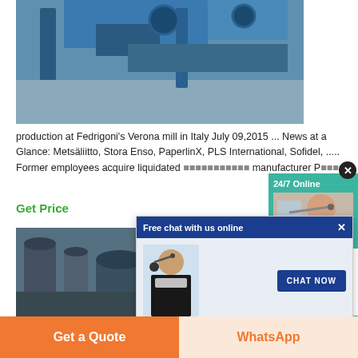[Figure (photo): Industrial machinery/paper mill equipment photo at top]
production at Fedrigoni's Verona mill in Italy July 09,2015 ... News at a Glance: Metsäliitto, Stora Enso, PaperlinX, PLS International, Sofidel, ..... Former employees acquire liquidated manufacturer P...
Get Price
[Figure (screenshot): Free chat with us online popup with chat agent photo and CHAT NOW button]
[Figure (infographic): 24/7 Online panel on right side with teal background and person with headset]
[Figure (photo): Industrial facility interior bottom photo showing hoppers and equipment]
[Figure (infographic): Have any requests, click here. Quotation button panel on right side]
Get a Quote
WhatsApp